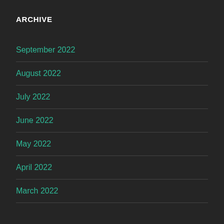ARCHIVE
September 2022
August 2022
July 2022
June 2022
May 2022
April 2022
March 2022